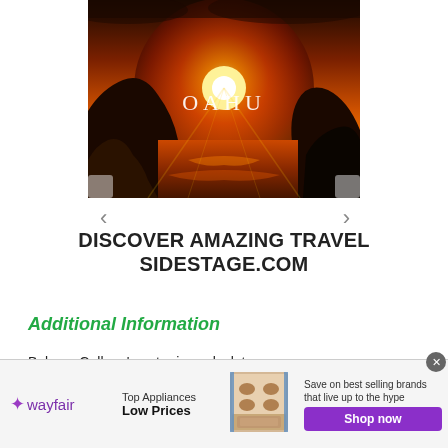[Figure (photo): Sunset photo of Oahu coastline with rocky shores, orange sky, and 'OAHU' text overlaid in white]
DISCOVER AMAZING TRAVEL SIDESTAGE.COM
Additional Information
Babson College's net price calculator
Babson College defines mid-price and it...
[Figure (other): Wayfair advertisement banner: Top Appliances Low Prices, Save on best selling brands that live up to the hype, Shop now button]